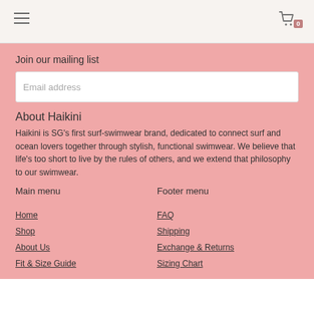Navigation header with hamburger menu and cart icon showing 0
Join our mailing list
Email address
About Haikini
Haikini is SG's first surf-swimwear brand, dedicated to connect surf and ocean lovers together through stylish, functional swimwear. We believe that life's too short to live by the rules of others, and we extend that philosophy to our swimwear.
Main menu
Footer menu
Home
Shop
About Us
Fit & Size Guide
FAQ
Shipping
Exchange & Returns
Sizing Chart